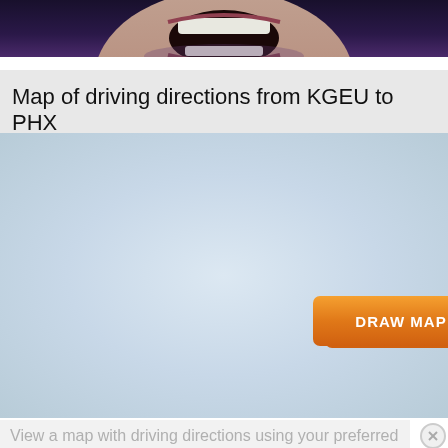[Figure (photo): Partial photo showing bottom of a person's face/mouth open, dark background with purple tones]
Map of driving directions from KGEU to PHX
[Figure (map): Light blue-grey map placeholder area with an orange 'DRAW MAP' button centered in the lower half]
View a map with driving directions using your preferred map provider: Google Maps, Bing Maps, or MapQuest